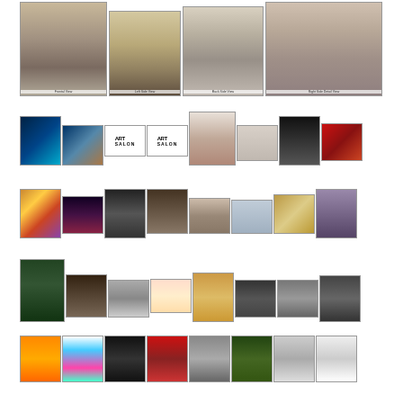[Figure (photo): Row 1: Four large artwork photos showing sculpture/figure from different views - Frontal View, Left Side View, Back Side View, Right Side Detail View]
Frontal View    Left Side View    Back Side View    Right Side Detail View
[Figure (photo): Row 2: Eight small artwork thumbnails including sculptures, portraits, ART SALON logos (two versions), geometric art, relief panels, column/tower sculpture, and red abstract painting]
[Figure (photo): Row 3: Eight small artwork thumbnails including colorful mosaic, stage/theater scene, dark abstract artwork, bronze sculpture, cage/box sculpture, slatted structure, battlefield painting, and classical column monument]
[Figure (photo): Row 4: Eight small artwork thumbnails including glass/plant sculpture, architectural interior, abstract gray panels, product/packaging art, tray with objects, ruins/war photography, landscape photography, and shadowy figure photograph]
[Figure (photo): Row 5: Eight small artwork thumbnails including orange sun graphic, concentric circles artwork, white coral/branch sculpture, textile/fabric artwork, woven textile, figurative painting with foliage, abstract gray pattern, and white atmospheric photograph]